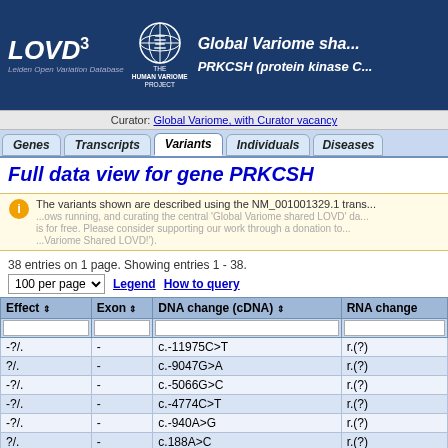LOVD3 Global Variome shared PRKCSH (protein kinase C) - Leiden Open Variation Database
Curator: Global Variome, with Curator vacancy
Full data view for gene PRKCSH
The variants shown are described using the NM_001001329.1 transcript.
38 entries on 1 page. Showing entries 1 - 38.
| Effect | Exon | DNA change (cDNA) | RNA change |
| --- | --- | --- | --- |
| -?/. | - | c.-11975C>T | r.(?) |
| ?/. | - | c.-9047G>A | r.(?) |
| -?/. | - | c.-5066G>C | r.(?) |
| -?/. | - | c.-4774C>T | r.(?) |
| -?/. | - | c.-940A>G | r.(?) |
| ?/. | - | c.188A>C | r.(?) |
| +/. | - | c.292+1G>C | r.spl? |
| -/. | - | c.351-5C>T | r.spl? |
| -?/. | - | c.351-5C>T | r.spl? |
| ?/. | - | c.416G>A | r.(?) |
| +/. | - | c.430_432delinsAATAAGG | r.(?) |